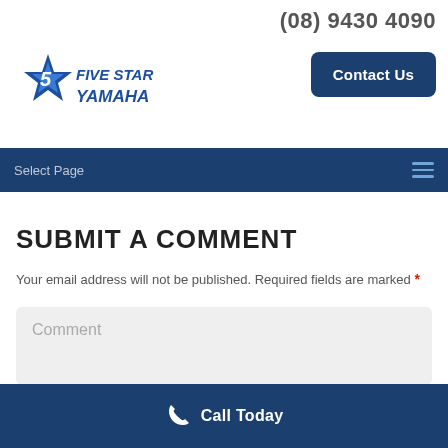(08) 9430 4090
[Figure (logo): Five Star Yamaha logo with blue star graphic and blue italic text]
Contact Us
Select Page
SUBMIT A COMMENT
Your email address will not be published. Required fields are marked *
Comment
Call Today